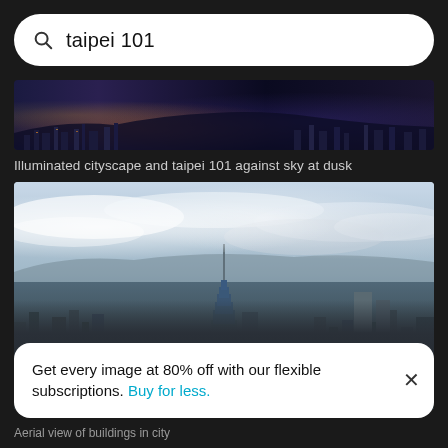taipei 101
[Figure (photo): Illuminated cityscape and taipei 101 against sky at dusk — night panoramic thumbnail]
Illuminated cityscape and taipei 101 against sky at dusk
[Figure (photo): Aerial view of Taipei city with Taipei 101 skyscraper prominently in center, surrounded by dense urban buildings, misty clouds and mountains in background]
Get every image at 80% off with our flexible subscriptions. Buy for less.
Aerial view of buildings in city